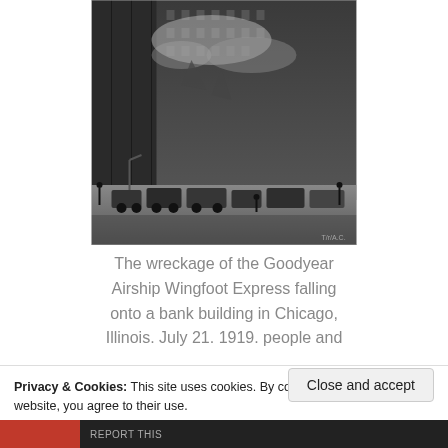[Figure (photo): Black and white historical photograph showing the wreckage of the Goodyear Airship Wingfoot Express falling onto a bank building in Chicago, Illinois. People and vehicles are visible on the street below a large building facade.]
The wreckage of the Goodyear Airship Wingfoot Express falling onto a bank building in Chicago, Illinois. July 21. 1919. people and
Privacy & Cookies: This site uses cookies. By continuing to use this website, you agree to their use.
To find out more, including how to control cookies, see here: Cookie Policy
Close and accept